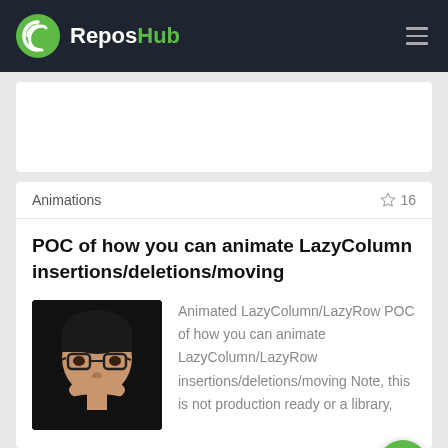ReposHub
Animations   ☆ 16
POC of how you can animate LazyColumn insertions/deletions/moving
Animated LazyColumn/LazyRow POC of how you can animate LazyColumn/LazyRow insertions/deletions/moving Note, this is not production ready or a library,
Animations   ☆ 86